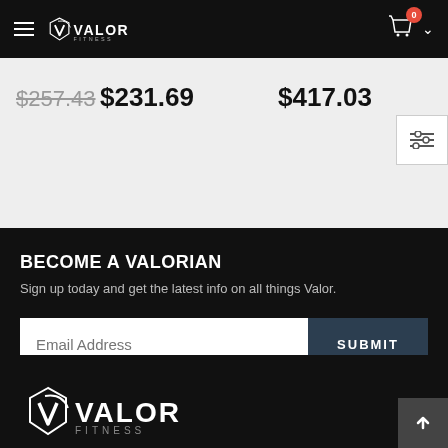Valor Fitness navigation bar with logo, hamburger menu, and shopping cart with 0 items
$257.43 $231.69    $417.03
BECOME A VALORIAN
Sign up today and get the latest info on all things Valor.
Email Address  SUBMIT
[Figure (logo): Valor Fitness logo in white at bottom of page]